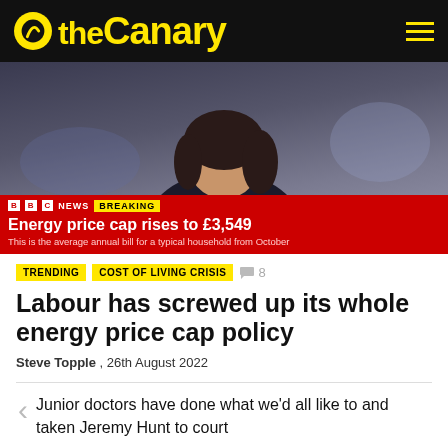the Canary
[Figure (screenshot): BBC News breaking news screenshot showing a woman in a black jacket and red top, with the headline 'Energy price cap rises to £3,549 - This is the average annual bill for a typical household from October']
TRENDING
COST OF LIVING CRISIS
Labour has screwed up its whole energy price cap policy
Steve Topple , 26th August 2022
Junior doctors have done what we'd all like to and taken Jeremy Hunt to court